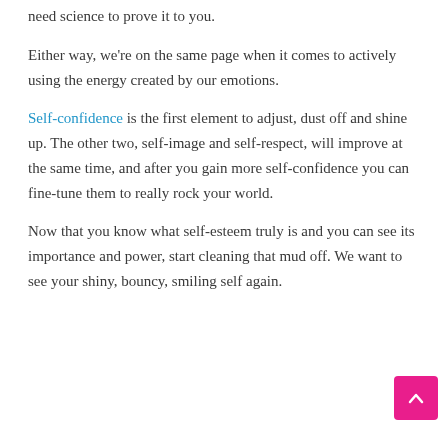need science to prove it to you.
Either way, we're on the same page when it comes to actively using the energy created by our emotions.
Self-confidence is the first element to adjust, dust off and shine up. The other two, self-image and self-respect, will improve at the same time, and after you gain more self-confidence you can fine-tune them to really rock your world.
Now that you know what self-esteem truly is and you can see its importance and power, start cleaning that mud off. We want to see your shiny, bouncy, smiling self again.